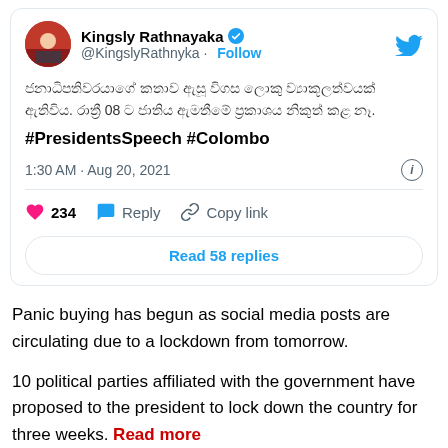[Figure (screenshot): A tweet from @KingslyRathnyka (Kingsly Rathnayaka, verified) showing Sinhala text and hashtags #PresidentsSpeech #Colombo, posted at 1:30 AM Aug 20, 2021, with 234 likes, Reply, Copy link actions, and a 'Read 58 replies' button.]
Panic buying has begun as social media posts are circulating due to a lockdown from tomorrow.
10 political parties affiliated with the government have proposed to the president to lock down the country for three weeks. Read more
Subscribe to our Whatsapp channel for the latest